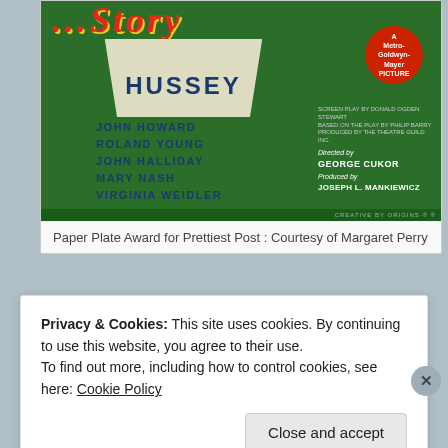[Figure (photo): Vintage movie poster for a Philadelphia Story film featuring Ruth Hussey, John Howard, Roland Young, John Halliday, Mary Nash, Virginia Weidler. Directed by George Cukor, produced by Joseph L. Mankiewicz. A Metro-Goldwyn-Mayer picture. Green background with art deco styling.]
Paper Plate Award for Prettiest Post : Courtesy of Margaret Perry
Privacy & Cookies: This site uses cookies. By continuing to use this website, you agree to their use.
To find out more, including how to control cookies, see here: Cookie Policy